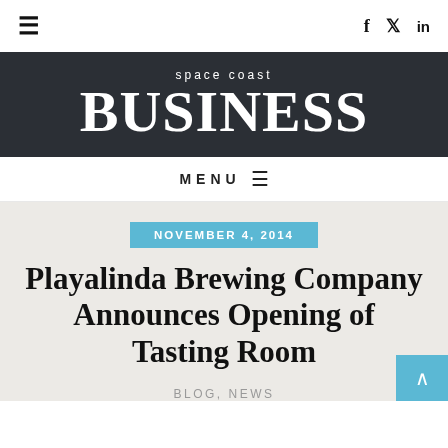≡   f  𝕏  in
[Figure (logo): Space Coast Business logo — white text on dark background with 'space coast' small text above large 'BUSINESS' wordmark]
MENU ≡
NOVEMBER 4, 2014
Playalinda Brewing Company Announces Opening of Tasting Room
BLOG, NEWS